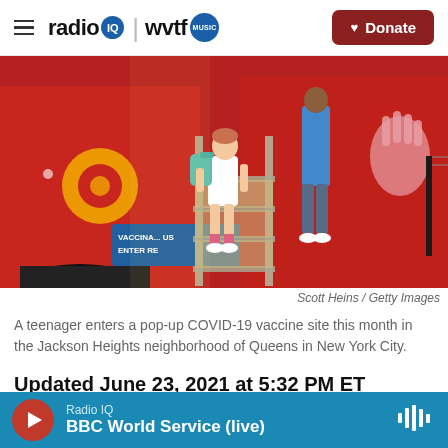radio IQ | wvtf MUSIC — Donate
[Figure (photo): A teenager with a teal backpack climbs metal stairs into a large red bus or mobile unit. A sign on the left reads 'VACCINATIONS ENTER HERE'. Another person in colorful clothes stands inside at the top of the stairs. The right side shows a mural of pink hands on the red vehicle.]
Scott Heins / Getty Images
A teenager enters a pop-up COVID-19 vaccine site this month in the Jackson Heights neighborhood of Queens in New York City.
Updated June 23, 2021 at 5:32 PM ET
Radio IQ — BBC World Service (live)